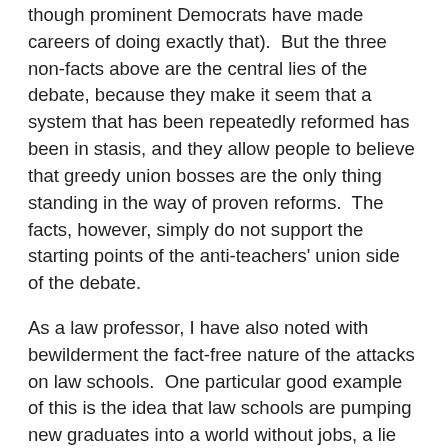though prominent Democrats have made careers of doing exactly that). But the three non-facts above are the central lies of the debate, because they make it seem that a system that has been repeatedly reformed has been in stasis, and they allow people to believe that greedy union bosses are the only thing standing in the way of proven reforms. The facts, however, simply do not support the starting points of the anti-teachers' union side of the debate.
As a law professor, I have also noted with bewilderment the fact-free nature of the attacks on law schools. One particular good example of this is the idea that law schools are pumping new graduates into a world without jobs, a lie repeated last week by the Washington Post, where a reporter blithely referred to the "shrinking job market for young lawyers," even though the Bureau of Labor Statistics has shown that this is simply false. (See excellent commentaries by Ted Seto and Stephen F. Diamond, here and here.) The good news is not great news, but it is certainly not true that the job market for young lawyers is shrinking, or even that it is smaller than it was before the boom ended, or that salaries are down. The news is good